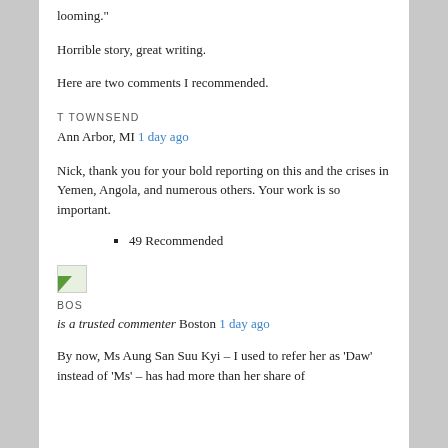looming."
Horrible story, great writing.
Here are two comments I recommended.
T TOWNSEND
Ann Arbor, MI 1 day ago
Nick, thank you for your bold reporting on this and the crises in Yemen, Angola, and numerous others. Your work is so important.
49 Recommended
[Figure (illustration): Broken/missing image icon with green triangle]
BOS
is a trusted commenter Boston 1 day ago
By now, Ms Aung San Suu Kyi – I used to refer her as 'Daw' instead of 'Ms' – has had more than her share of